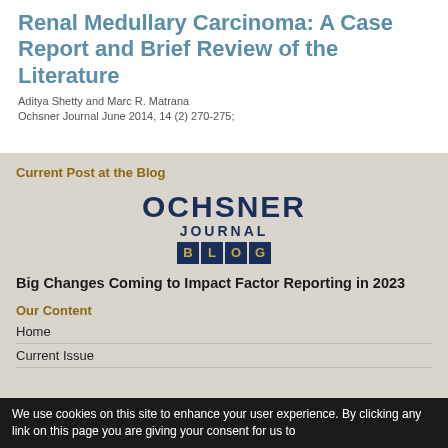Renal Medullary Carcinoma: A Case Report and Brief Review of the Literature
Aditya Shetty and Marc R. Matrana
Ochsner Journal June 2014, 14 (2) 270-275;
Current Post at the Blog
[Figure (logo): Ochsner Journal Blog logo — text OCHSNER in large dark navy, JOURNAL below in smaller navy, BLOG in dark navy square letter tiles with gold letters]
Big Changes Coming to Impact Factor Reporting in 2023
Our Content
Home
Current Issue
We use cookies on this site to enhance your user experience. By clicking any link on this page you are giving your consent for us to